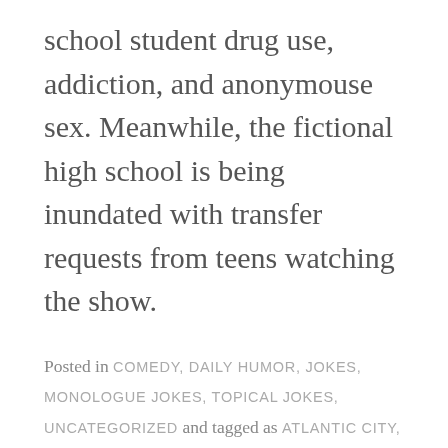school student drug use, addiction, and anonymouse sex. Meanwhile, the fictional high school is being inundated with transfer requests from teens watching the show.
Posted in COMEDY, DAILY HUMOR, JOKES, MONOLOGUE JOKES, TOPICAL JOKES, UNCATEGORIZED and tagged as ATLANTIC CITY, BARRY BONDS, BASEBALL HALL OF FAME, BAYA ENERGY DRINK, CHARLIE BROWN, COVID NEW JERSEY DEER, COVID-19 VACCINE, DARA, HBO EUPHORIA, JULIA HURRICANE HAWKINS, LOUISIANA SENIOR GAMES, PETER ROBBINS SUICIDE, SIMPLY LEMONADE, SIMPLY SPIKED LEMONADE, SPACEX ROCKET TO CRASH INTO MOON, STARBUCKS, UNVACCINATED HEART PATIENT, WALKING FOR EXERCISE. LEAVE A